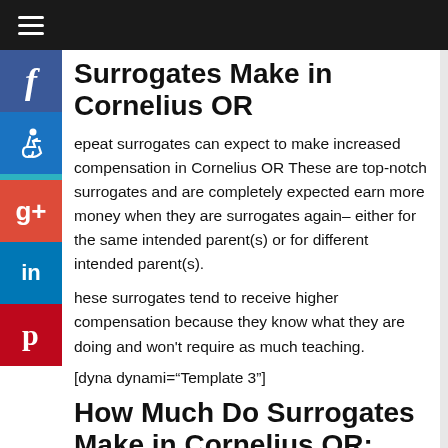≡ (navigation bar)
Surrogates Make in Cornelius OR
Repeat surrogates can expect to make increased compensation in Cornelius OR These are top-notch surrogates and are completely expected earn more money when they are surrogates again– either for the same intended parent(s) or for different intended parent(s).
These surrogates tend to receive higher compensation because they know what they are doing and won't require as much teaching.
[dyna dynami="Template 3"]
How Much Do Surrogates Make in Cornelius OR: Multiples